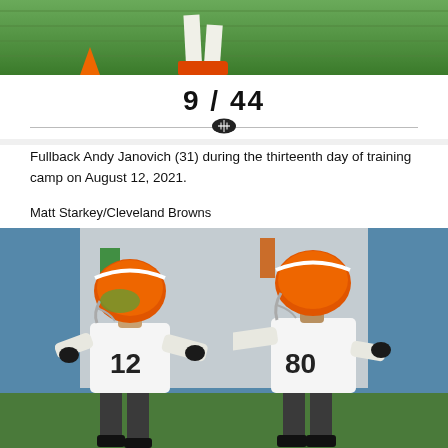[Figure (photo): Top portion of training camp photo showing players' legs and feet on grass field, partially cropped]
9 / 44
Fullback Andy Janovich (31) during the thirteenth day of training camp on August 12, 2021.
Matt Starkey/Cleveland Browns
[Figure (photo): Two Cleveland Browns players in white jerseys and orange helmets (numbers 12 and 80) greeting each other with an outstretched arm/handshake during training camp]